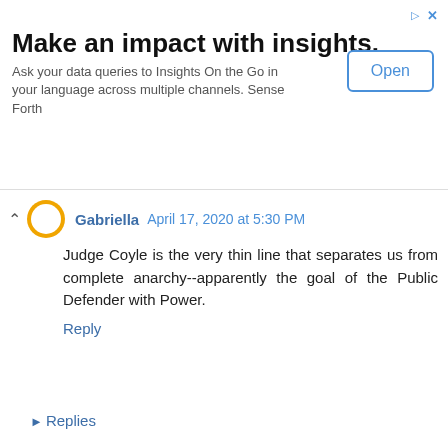[Figure (other): Advertisement banner: 'Make an impact with insights. Ask your data queries to Insights On the Go in your language across multiple channels. Sense Forth' with an 'Open' button]
Gabriella  April 17, 2020 at 5:30 PM
Judge Coyle is the very thin line that separates us from complete anarchy--apparently the goal of the Public Defender with Power.
Reply
▸ Replies
Yabster  April 17, 2020 at 8:02 PM
I have a thin line that's about .44 wide that is my last line of defense.
Unknown  April 18, 2020 at 3:29 PM
Judge Coyle did what ALL Judges do